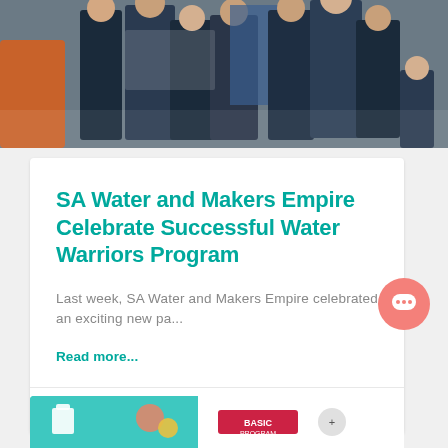[Figure (photo): Group photo of people in sports jerseys standing together indoors]
SA Water and Makers Empire Celebrate Successful Water Warriors Program
Last week, SA Water and Makers Empire celebrated an exciting new pa...
Read more...
2022-08-19
[Figure (screenshot): Partial screenshot of another article or graphic at the bottom of the page]